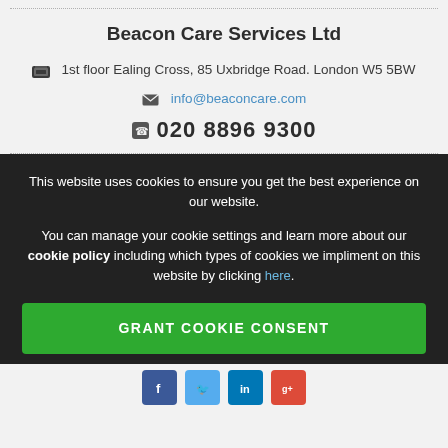Beacon Care Services Ltd
1st floor Ealing Cross, 85 Uxbridge Road. London W5 5BW
info@beaconcare.com
020 8896 9300
This website uses cookies to ensure you get the best experience on our website.

You can manage your cookie settings and learn more about our cookie policy including which types of cookies we impliment on this website by clicking here.
GRANT COOKIE CONSENT
[Figure (other): Social media icons row: Facebook, Twitter, LinkedIn, Google+]